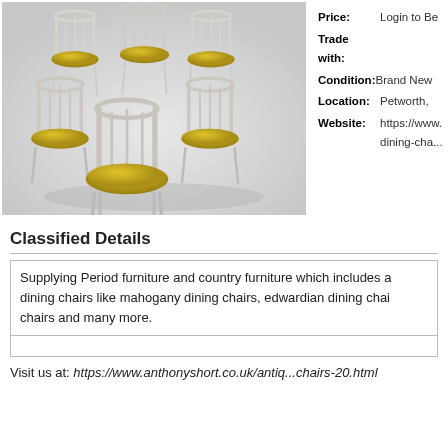[Figure (photo): Six dining chairs with white/cream painted frames and yellow upholstered seats arranged in a group photo against a light background]
Price: Login to Be
Trade with:
Condition: Brand New
Location: Petworth,
Website: https://www. dining-cha...
Classified Details
Supplying Period furniture and country furniture which includes a dining chairs like mahogany dining chairs, edwardian dining chai chairs and many more.
Visit us at: https://www.anthonyshort.co.uk/antiq...chairs-20.html